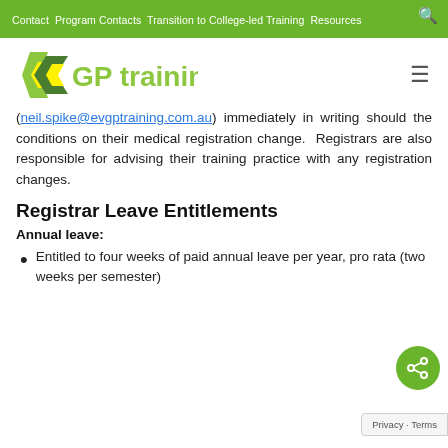Contact Program Contacts Transition to College-led Training Resources
[Figure (logo): EV GP training logo with green chevron/arrow icon and green text reading 'GP training']
(neil.spike@evgptraining.com.au) immediately in writing should the conditions on their medical registration change. Registrars are also responsible for advising their training practice with any registration changes.
Registrar Leave Entitlements
Annual leave:
Entitled to four weeks of paid annual leave per year, pro rata (two weeks per semester)